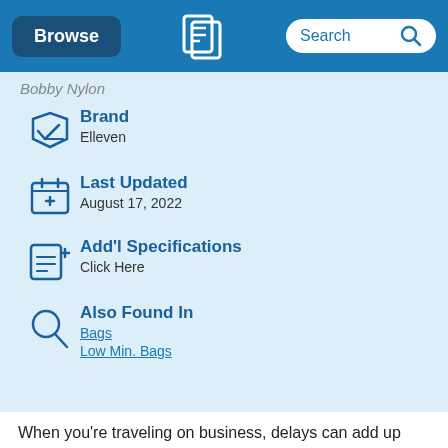Browse | [logo] | Search
Bobby Nylon
Brand
Elleven
Last Updated
August 17, 2022
Add'l Specifications
Click Here
Also Found In
Bags
Low Min. Bags
When you're traveling on business, delays can add up